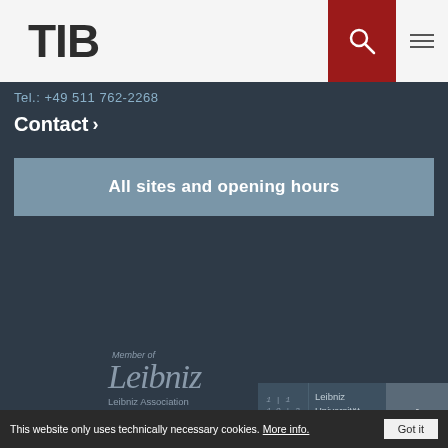[Figure (logo): TIB logo in header, black bold text on light gray background]
Tel.: +49 511 762-2268
Contact ›
All sites and opening hours
[Figure (logo): TIB Leibniz Information Centre for Science and Technology University Library logo with large TIB letters and tagline on dark background]
Member of
[Figure (logo): Leibniz Association signature logo with stylized script and Leibniz Association text]
[Figure (logo): Leibniz Universität Hannover logo box with LUH number grid and university name]
This website only uses technically necessary cookies. More info.
Got it